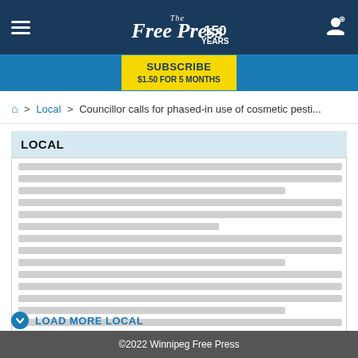The Free Press 150 YEARS
SUBSCRIBE $1.50 FOR 5 MONTHS
🏠 > Local > Councillor calls for phased-in use of cosmetic pesti...
LOCAL
[loading placeholder lines]
LOAD MORE LOCAL
©2022 Winnipeg Free Press